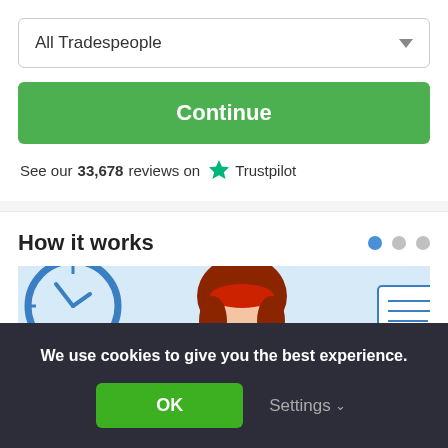All Tradespeople
Continue
See our 33,678 reviews on Trustpilot
How it works
[Figure (illustration): Illustration showing a woman with red hair at a desk, a clock, and a form/document, on a light blue background]
We use cookies to give you the best experience.
OK
Settings